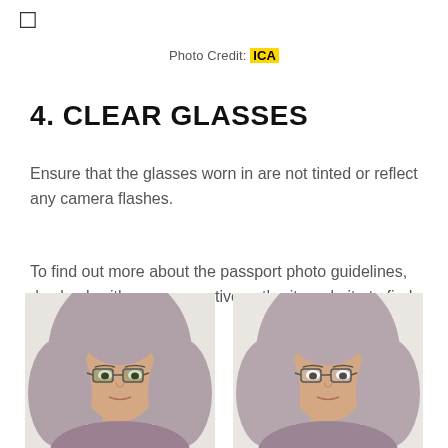□
Photo Credit: ICA
4. CLEAR GLASSES
Ensure that the glasses worn in are not tinted or reflect any camera flashes.
To find out more about the passport photo guidelines, do check with your respective authority website to find out what is suitable.
[Figure (photo): Two side-by-side passport photos of a woman wearing a hijab and glasses, showing a comparison of clear vs tinted glasses.]